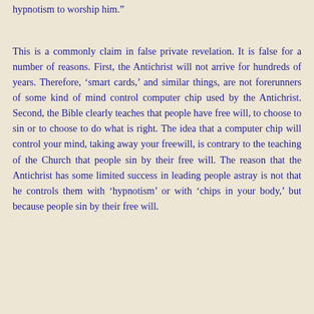hypnotism to worship him.”
This is a commonly claim in false private revelation. It is false for a number of reasons. First, the Antichrist will not arrive for hundreds of years. Therefore, ‘smart cards,’ and similar things, are not forerunners of some kind of mind control computer chip used by the Antichrist. Second, the Bible clearly teaches that people have free will, to choose to sin or to choose to do what is right. The idea that a computer chip will control your mind, taking away your freewill, is contrary to the teaching of the Church that people sin by their free will. The reason that the Antichrist has some limited success in leading people astray is not that he controls them with ‘hypnotism’ or with ‘chips in your body,’ but because people sin by their free will.